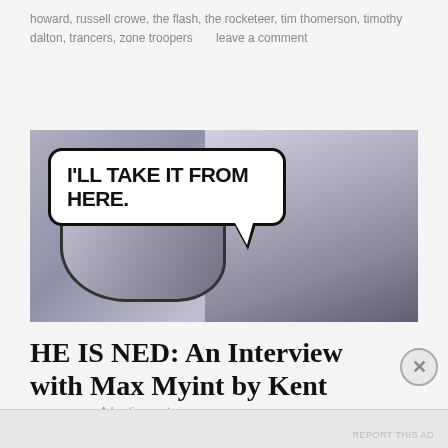howard, russell crowe, the flash, the rocketeer, tim thomerson, timothy dalton, trancers, zone troopers      leave a comment
[Figure (illustration): Comic book panel showing armored figure/fist with a speech bubble saying 'I'LL TAKE IT FROM HERE.' in bold black text on white background, with a dark armored figure on the right side.]
HE IS NED: An Interview with Max Myint by Kent
Advertisements